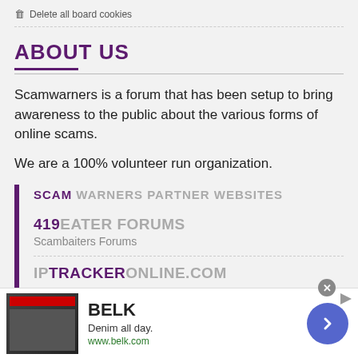Delete all board cookies
ABOUT US
Scamwarners is a forum that has been setup to bring awareness to the public about the various forms of online scams.
We are a 100% volunteer run organization.
SCAM WARNERS PARTNER WEBSITES
419EATER FORUMS
Scambaiters Forums
IPTRACKERONLINE.COM
Trace that email address by country
[Figure (other): Advertisement banner for Belk featuring denim clothing. Shows brand name BELK, tagline 'Denim all day.', URL www.belk.com, a navigation arrow button, and clothing imagery.]